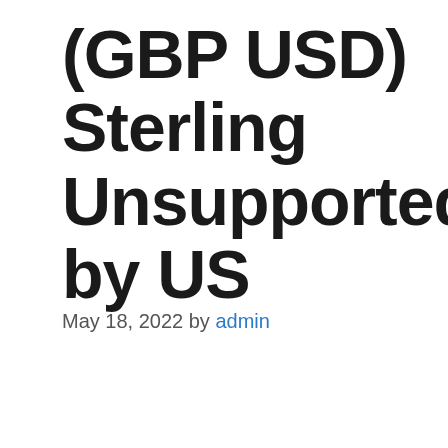(GBP USD) Sterling Unsupported by US
May 18, 2022 by admin